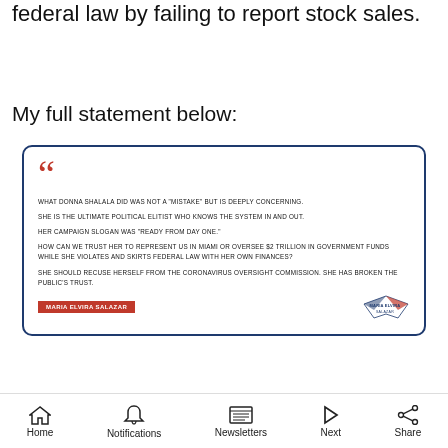federal law by failing to report stock sales.
My full statement below:
[Figure (screenshot): Quoted statement card from Maria Elvira Salazar with red quotation marks and navy blue border. Text reads: WHAT DONNA SHALALA DID WAS NOT A 'MISTAKE' BUT IS DEEPLY CONCERNING. SHE IS THE ULTIMATE POLITICAL ELITIST WHO KNOWS THE SYSTEM IN AND OUT. HER CAMPAIGN SLOGAN WAS 'READY FROM DAY ONE.' HOW CAN WE TRUST HER TO REPRESENT US IN MIAMI OR OVERSEE $2 TRILLION IN GOVERNMENT FUNDS WHILE SHE VIOLATES AND SKIRTS FEDERAL LAW WITH HER OWN FINANCES? SHE SHOULD RECUSE HERSELF FROM THE CORONAVIRUS OVERSIGHT COMMISSION. SHE HAS BROKEN THE PUBLIC'S TRUST. — MARIA ELVIRA SALAZAR]
7:04 PM · Apr 22, 2020
Read the full conversation on Twitter
Home  Notifications  Newsletters  Next  Share